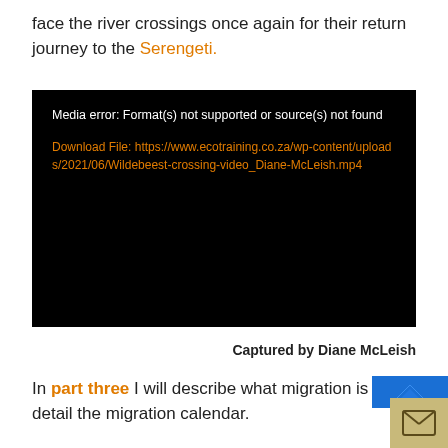face the river crossings once again for their return journey to the Serengeti.
[Figure (screenshot): Black media player error box showing: 'Media error: Format(s) not supported or source(s) not found' and a download link to https://www.ecotraining.co.za/wp-content/uploads/2021/06/Wildebeest-crossing-video_Diane-McLeish.mp4]
Captured by Diane McLeish
In part three I will describe what migration is and detail the migration calendar.